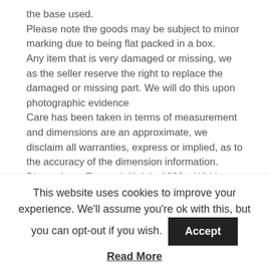the base used.
Please note the goods may be subject to minor marking due to being flat packed in a box.
Any item that is very damaged or missing, we as the seller reserve the right to replace the damaged or missing part. We will do this upon photographic evidence
Care has been taken in terms of measurement and dimensions are an approximate, we disclaim all warranties, express or implied, as to the accuracy of the dimension information.
Dimensions: External: Height 1800 x Width 1940 x Depth 1210mm, – door is on the 6ft side -Weight 48
This website uses cookies to improve your experience. We'll assume you're ok with this, but you can opt-out if you wish.
Accept
Read More